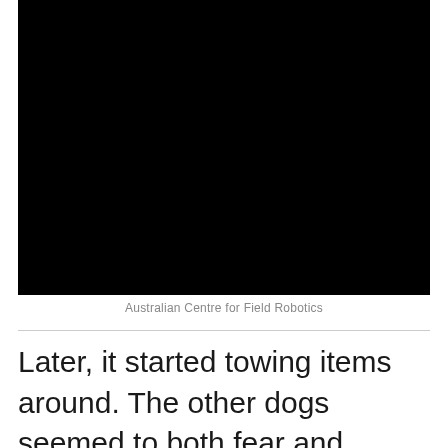[Figure (photo): A dark/black image, likely a photo taken in low light conditions from the Australian Centre for Field Robotics, possibly showing SwagBot robot.]
Australian Centre for Field Robotics
Later, it started towing items around. The other dogs seemed to both fear and admire SwagBot.